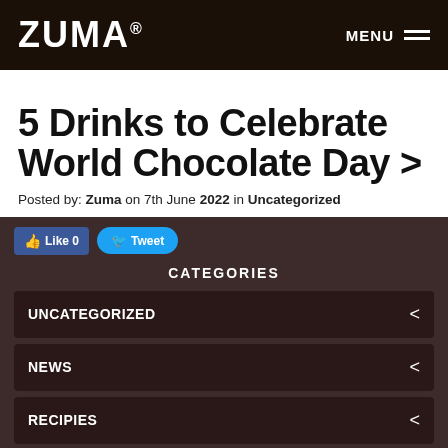ZUMA® MENU
5 Drinks to Celebrate World Chocolate Day >
Posted by: Zuma on 7th June 2022 in Uncategorized
Like 0   Tweet
CATEGORIES
UNCATEGORIZED
NEWS
RECIPIES
BLOG